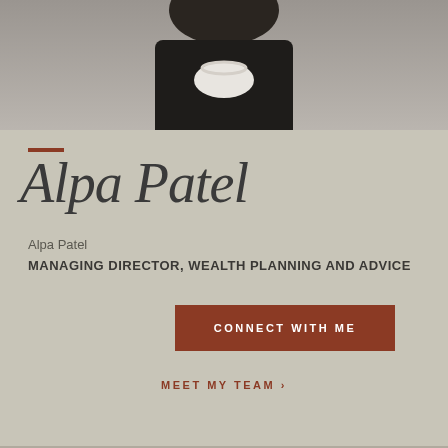[Figure (photo): Professional headshot photo of Alpa Patel, a woman with dark hair wearing a white shirt and dark blazer with pearl necklace, cropped at chest level]
Alpa Patel
Alpa Patel
MANAGING DIRECTOR, WEALTH PLANNING AND ADVICE
CONNECT WITH ME
MEET MY TEAM >